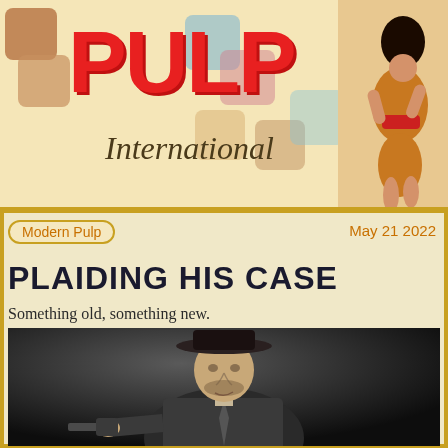[Figure (illustration): Pulp International website header banner with large red PULP logo, italic 'International' text below, decorative retro colored squares in background, and a pin-up woman in the upper right corner]
Modern Pulp
May 21 2022
PLAIDING HIS CASE
Something old, something new.
[Figure (photo): Black and white photograph of a man in a fedora hat and plaid suit jacket pointing a revolver toward the camera]